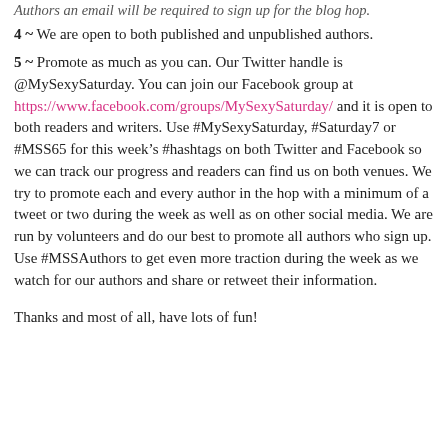Authors an email will be required to sign up for the blog hop.
4 ~ We are open to both published and unpublished authors.
5 ~ Promote as much as you can. Our Twitter handle is @MySexySaturday. You can join our Facebook group at https://www.facebook.com/groups/MySexySaturday/ and it is open to both readers and writers. Use #MySexySaturday, #Saturday7 or #MSS65 for this week’s #hashtags on both Twitter and Facebook so we can track our progress and readers can find us on both venues. We try to promote each and every author in the hop with a minimum of a tweet or two during the week as well as on other social media. We are run by volunteers and do our best to promote all authors who sign up. Use #MSSAuthors to get even more traction during the week as we watch for our authors and share or retweet their information.
Thanks and most of all, have lots of fun!